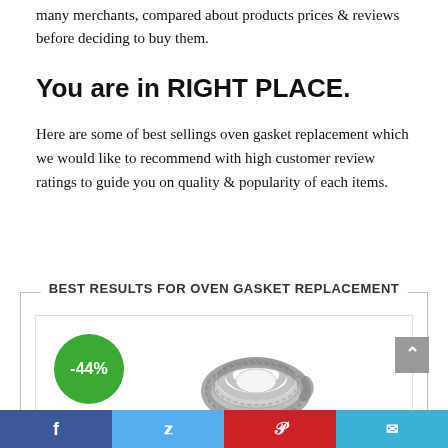many merchants, compared about products prices & reviews before deciding to buy them.
You are in RIGHT PLACE.
Here are some of best sellings oven gasket replacement which we would like to recommend with high customer review ratings to guide you on quality & popularity of each items.
BEST RESULTS FOR OVEN GASKET REPLACEMENT
[Figure (photo): Product image of an oven gasket (rope-style seal coiled up) with a green -44% discount badge overlay]
Social share bar with Facebook, Twitter, Pinterest, and Email icons